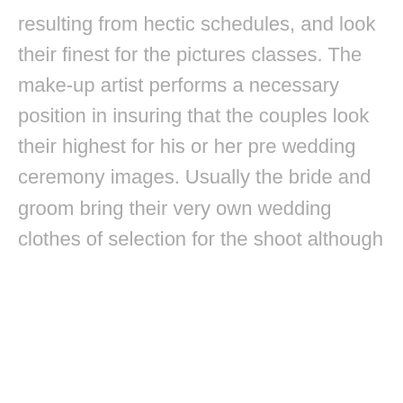resulting from hectic schedules, and look their finest for the pictures classes. The make-up artist performs a necessary position in insuring that the couples look their highest for his or her pre wedding ceremony images. Usually the bride and groom bring their very own wedding clothes of selection for the shoot although
We use cookies on our website to give you the most relevant experience by remembering your preferences and repeat visits. By clicking "Accept", you consent to the use of ALL the cookies.
Cookie settings
ACCEPT